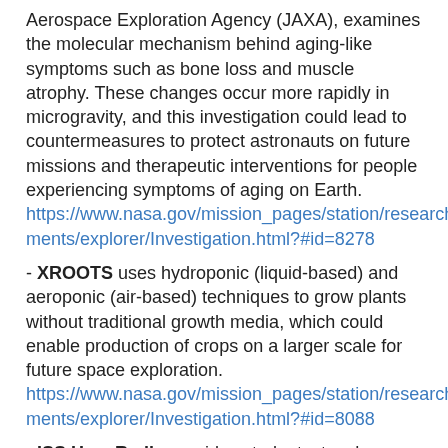Aerospace Exploration Agency (JAXA), examines the molecular mechanism behind aging-like symptoms such as bone loss and muscle atrophy. These changes occur more rapidly in microgravity, and this investigation could lead to countermeasures to protect astronauts on future missions and therapeutic interventions for people experiencing symptoms of aging on Earth. https://www.nasa.gov/mission_pages/station/research/experiments/explorer/Investigation.html?#id=8278
- XROOTS uses hydroponic (liquid-based) and aeroponic (air-based) techniques to grow plants without traditional growth media, which could enable production of crops on a larger scale for future space exploration. https://www.nasa.gov/mission_pages/station/research/experiments/explorer/Investigation.html?#id=8088
- ISS Ham Radio provides students, teachers, parents, and others the opportunity to communicate with astronauts using amateur radio units. Before a scheduled call, students learn about the station, radio waves, and other topics and prepare a list of questions on topics they have researched.